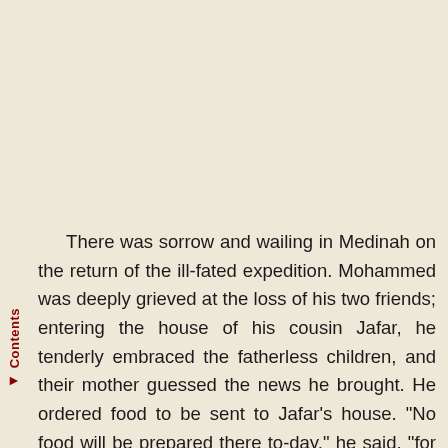Contents
There was sorrow and wailing in Medinah on the return of the ill-fated expedition. Mohammed was deeply grieved at the loss of his two friends; entering the house of his cousin Jafar, he tenderly embraced the fatherless children, and their mother guessed the news he brought. He ordered food to be sent to Jafar's house. "No food will be prepared there to-day," he said, "for all are overwhelmed with grief for the loss of their master." The Prophet next went to Zaid's house, where he was met by Zaid's little daughter, who threw herself weeping into his arms, and Mohammed wept until he sobbed aloud, for her father had been his beloved friend for many